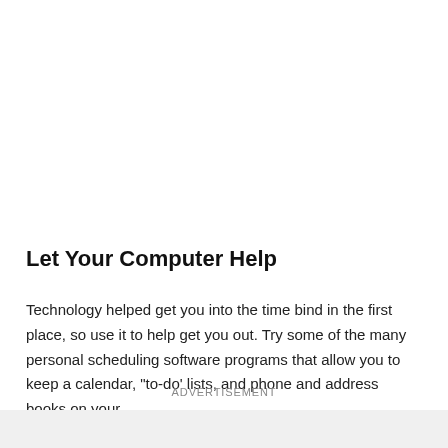Let Your Computer Help
Technology helped get you into the time bind in the first place, so use it to help get you out. Try some of the many personal scheduling software programs that allow you to keep a calendar, "to-do' lists, and phone and address books on your
ADVERTISEMENT